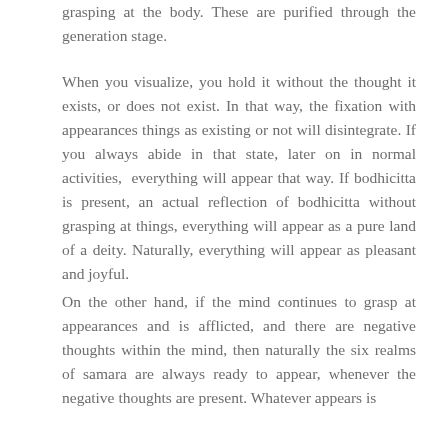grasping at the body. These are purified through the generation stage.
When you visualize, you hold it without the thought it exists, or does not exist. In that way, the fixation with appearances things as existing or not will disintegrate. If you always abide in that state, later on in normal activities, everything will appear that way. If bodhicitta is present, an actual reflection of bodhicitta without grasping at things, everything will appear as a pure land of a deity. Naturally, everything will appear as pleasant and joyful.
On the other hand, if the mind continues to grasp at appearances and is afflicted, and there are negative thoughts within the mind, then naturally the six realms of samara are always ready to appear, whenever the negative thoughts are present. Whatever appears is